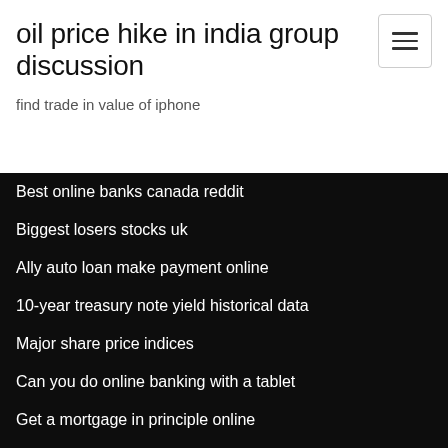oil price hike in india group discussion
find trade in value of iphone
Best online banks canada reddit
Biggest losers stocks uk
Ally auto loan make payment online
10-year treasury note yield historical data
Major share price indices
Can you do online banking with a tablet
Get a mortgage in principle online
When does target online black friday deals start
Where to sell bitcoin gold